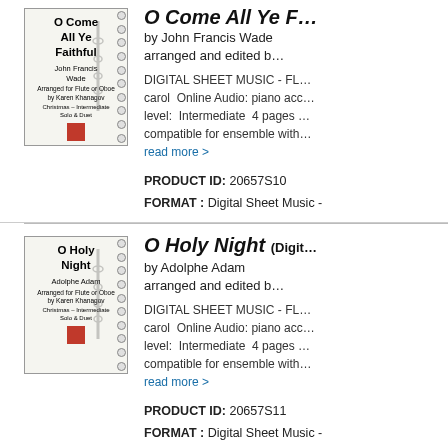[Figure (illustration): Sheet music cover for 'O Come All Ye Faithful' arranged for Flute or Oboe by Karen Khanagov, Christmas Intermediate Solo & Duet, with spiral binding and flute illustration]
O Come All Ye Faithful by John Francis Wade arranged and edited b...
DIGITAL SHEET MUSIC - FL... carol Online Audio: piano acc... level: Intermediate 4 pages compatible for ensemble with...
read more >
PRODUCT ID: 20657S10
FORMAT : Digital Sheet Music -
[Figure (illustration): Sheet music cover for 'O Holy Night' arranged for Flute or Oboe by Karen Khanagov, Christmas Intermediate Solo & Duet, with spiral binding and flute illustration]
O Holy Night (Digit... by Adolphe Adam arranged and edited b...
DIGITAL SHEET MUSIC - FL... carol Online Audio: piano acc... level: Intermediate 4 pages compatible for ensemble with...
read more >
PRODUCT ID: 20657S11
FORMAT : Digital Sheet Music -